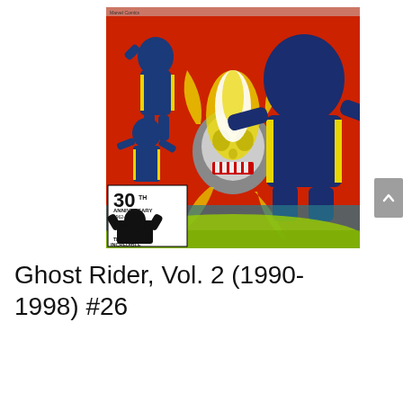[Figure (illustration): Comic book cover for Ghost Rider Vol. 2, showing Ghost Rider (flaming skull character) surrounded by X-Men in blue and yellow costumes, dynamic action scene with yellow energy and blue figures. Bottom left shows '30th Anniversary' Marvel logo with Incredible Hulk figure. Red background with action poses.]
Ghost Rider, Vol. 2 (1990-1998) #26